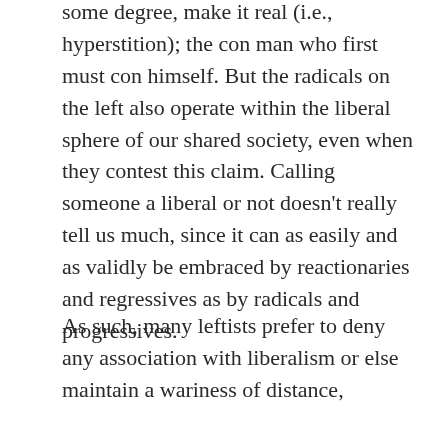some degree, make it real (i.e., hyperstition); the con man who first must con himself. But the radicals on the left also operate within the liberal sphere of our shared society, even when they contest this claim. Calling someone a liberal or not doesn't really tell us much, since it can as easily and as validly be embraced by reactionaries and regressives as by radicals and progressives.
As such, many leftists prefer to deny any association with liberalism or else maintain a wariness of distance, whether they outright reject or insist on distinguishing